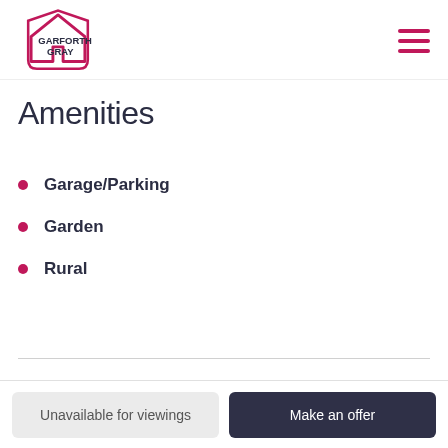Garforth Gray
Amenities
Garage/Parking
Garden
Rural
Unavailable for viewings | Make an offer